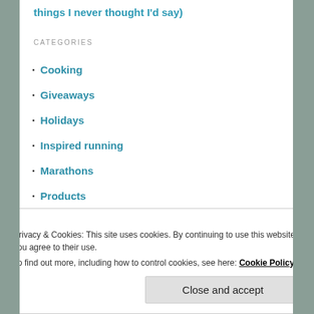things I never thought I'd say)
CATEGORIES
Cooking
Giveaways
Holidays
Inspired running
Marathons
Products
Racing
Running Etiquette
Uncategorized
ARCHIVES
Privacy & Cookies: This site uses cookies. By continuing to use this website, you agree to their use. To find out more, including how to control cookies, see here: Cookie Policy